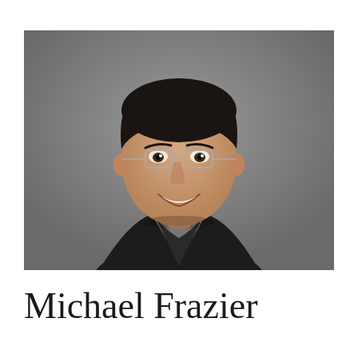[Figure (photo): Professional headshot of Michael Frazier, a middle-aged man with short dark hair, wearing rimless glasses and a black blazer over a dark polo shirt, smiling at the camera against a gray background.]
Michael Frazier